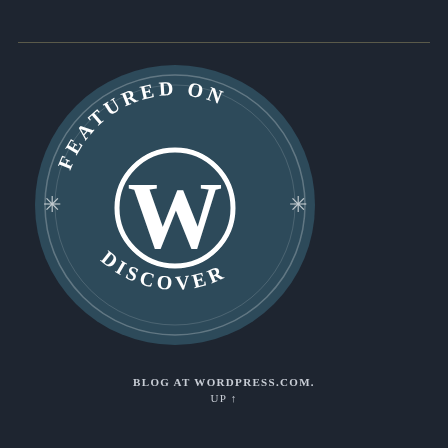[Figure (logo): WordPress 'Featured on Discover' circular badge. A dark teal circle with white text arching along the top reading 'FEATURED ON' and along the bottom reading 'DISCOVER', with asterisk decorations on the left and right sides. In the center is the WordPress 'W' logo in white within a white circle outline.]
BLOG AT WORDPRESS.COM.
UP ↑